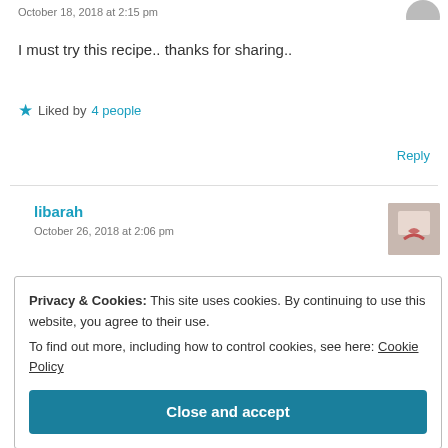October 18, 2018 at 2:15 pm
I must try this recipe.. thanks for sharing..
Liked by 4 people
Reply
libarah
October 26, 2018 at 2:06 pm
Privacy & Cookies: This site uses cookies. By continuing to use this website, you agree to their use. To find out more, including how to control cookies, see here: Cookie Policy
Close and accept